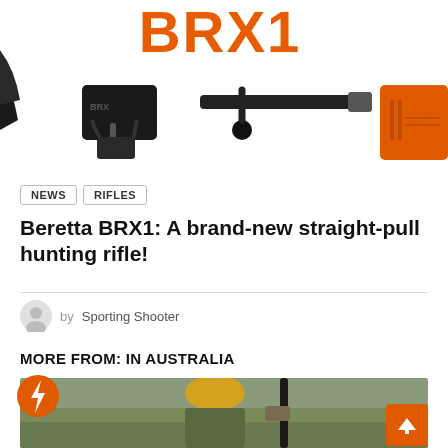[Figure (photo): Beretta BRX1 rifle product components on white background with orange BRX1 logo text, showing trigger mechanism, bolt handle, barrel, and orange stock detail]
NEWS
RIFLES
Beretta BRX1: A brand-new straight-pull hunting rifle!
by Sporting Shooter
MORE FROM: IN AUSTRALIA
[Figure (photo): Hunter with yellow cap and camouflage jacket holding a rifle, standing in a field with grass]